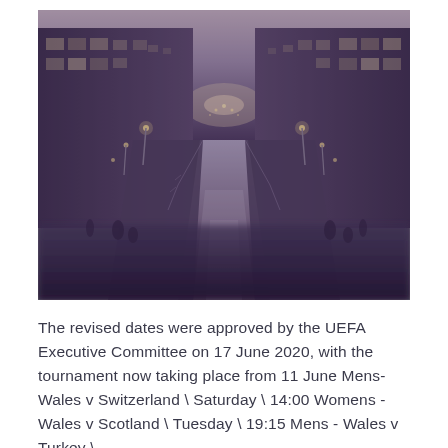[Figure (photo): A twilight photo of a European canal street (likely Milan's Naviglio Grande) with buildings lining both sides, street lights reflecting on the water, shot from ground level looking down the canal perspective. The image has a moody, purple-tinted tone.]
The revised dates were approved by the UEFA Executive Committee on 17 June 2020, with the tournament now taking place from 11 June Mens-Wales v Switzerland \ Saturday \ 14:00 Womens - Wales v Scotland \ Tuesday \ 19:15 Mens - Wales v Turkey \